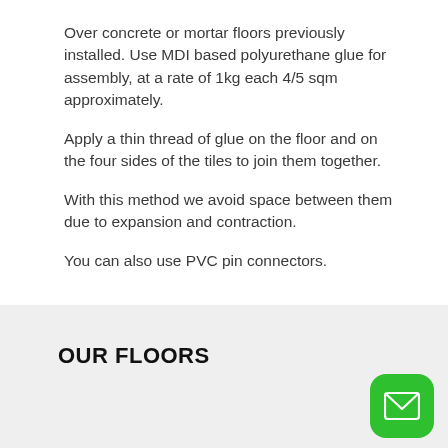Over concrete or mortar floors previously installed. Use MDI based polyurethane glue for assembly, at a rate of 1kg each 4/5 sqm approximately.
Apply a thin thread of glue on the floor and on the four sides of the tiles to join them together.
With this method we avoid space between them due to expansion and contraction.
You can also use PVC pin connectors.
OUR FLOORS
[Figure (illustration): Green rounded square button with white envelope/mail icon]